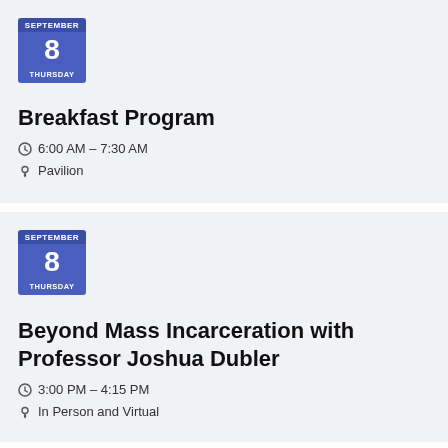[Figure (other): Calendar badge showing September 8, Thursday]
Breakfast Program
6:00 AM – 7:30 AM
Pavilion
[Figure (other): Calendar badge showing September 8, Thursday]
Beyond Mass Incarceration with Professor Joshua Dubler
3:00 PM – 4:15 PM
In Person and Virtual